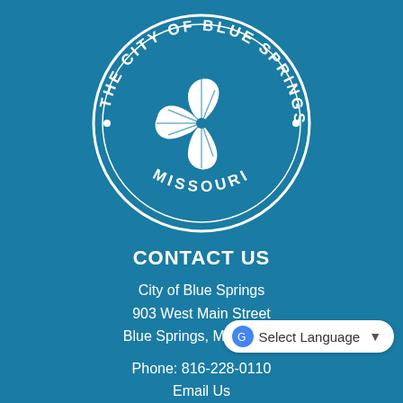[Figure (logo): City of Blue Springs Missouri circular seal logo in white on blue background, featuring a four-leaf clover/cross emblem in the center with text 'THE CITY OF BLUE SPRINGS' arcing around the top and 'MISSOURI' along the bottom]
CONTACT US
City of Blue Springs
903 West Main Street
Blue Springs, MO 64015
Phone: 816-228-0110
Email Us
SOCIAL MEDIA